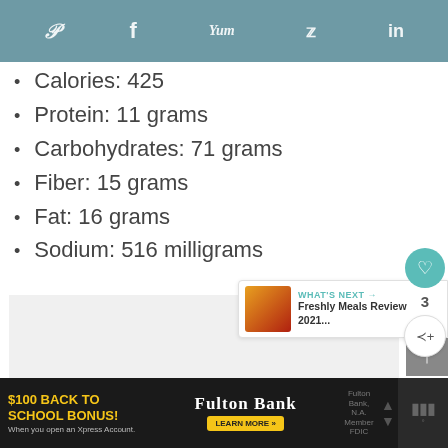Social share bar with icons: Pinterest, Facebook, Yummly, Twitter, Mix
Calories: 425
Protein: 11 grams
Carbohydrates: 71 grams
Fiber: 15 grams
Fat: 16 grams
Sodium: 516 milligrams
WHAT'S NEXT → Freshly Meals Review 2021...
$100 BACK TO SCHOOL BONUS! When you open an Xpress Account. Fulton Bank LEARN MORE »